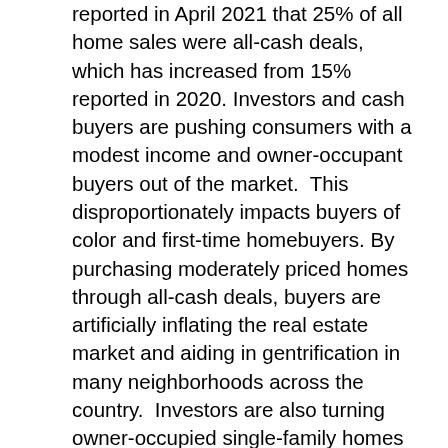reported in April 2021 that 25% of all home sales were all-cash deals, which has increased from 15% reported in 2020. Investors and cash buyers are pushing consumers with a modest income and owner-occupant buyers out of the market.  This disproportionately impacts buyers of color and first-time homebuyers. By purchasing moderately priced homes through all-cash deals, buyers are artificially inflating the real estate market and aiding in gentrification in many neighborhoods across the country.  Investors are also turning owner-occupied single-family homes into non-owner-occupied rentals which diminish the sense of community many first-time homebuyers look for when seeking their dream home.  These issues are hitting all over the U.S. in both rural and urban areas. Housing counselors and advocates for affordable housing began raising the alarm about this issue in early 2020.  Real estate agents were telling homebuyers to waive property inspections and even appraisal contingencies to be competitive.  Buyers were told that cash offers with quick turnaround were beating out their offers